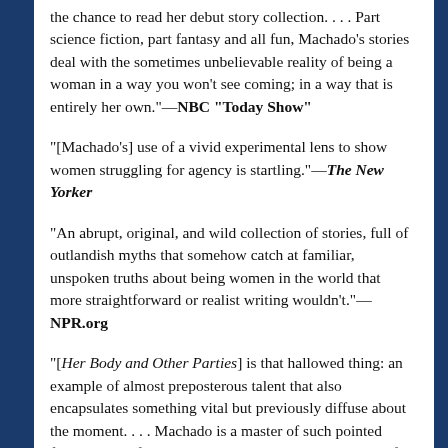the chance to read her debut story collection. . . . Part science fiction, part fantasy and all fun, Machado's stories deal with the sometimes unbelievable reality of being a woman in a way you won't see coming; in a way that is entirely her own."—NBC "Today Show"
"[Machado's] use of a vivid experimental lens to show women struggling for agency is startling."—The New Yorker
"An abrupt, original, and wild collection of stories, full of outlandish myths that somehow catch at familiar, unspoken truths about being women in the world that more straightforward or realist writing wouldn't."—NPR.org
"[Her Body and Other Parties] is that hallowed thing: an example of almost preposterous talent that also encapsulates something vital but previously diffuse about the moment. . . . Machado is a master of such pointed formal play, of queering genre and the supposed laws of reality to present alternative possibilities. . . . Machado reveals just how original, subversive, proud and joyful it can be to write from deep in the gut, even—especially, if the gut has been bruised."—Los Angeles Times